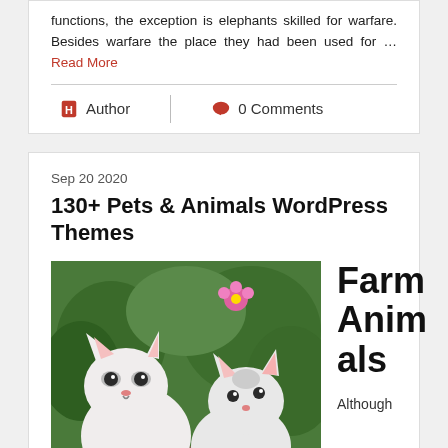functions, the exception is elephants skilled for warfare. Besides warfare the place they had been used for … Read More
Author   0 Comments
Sep 20 2020
130+ Pets & Animals WordPress Themes
[Figure (photo): Two white kittens sitting outdoors in a garden with green plants and a pink flower, with text overlay reading 'Cat']
Farm Animals
Although